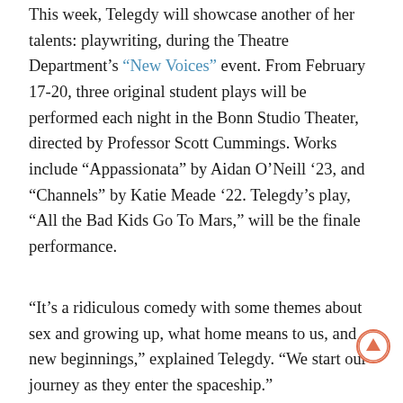This week, Telegdy will showcase another of her talents: playwriting, during the Theatre Department's "New Voices" event. From February 17-20, three original student plays will be performed each night in the Bonn Studio Theater, directed by Professor Scott Cummings. Works include “Appassionata” by Aidan O’Neill ’23, and “Channels” by Katie Meade ’22. Telegdy’s play, “All the Bad Kids Go To Mars,” will be the finale performance.
“It’s a ridiculous comedy with some themes about sex and growing up, what home means to us, and new beginnings,” explained Telegdy. “We start our journey as they enter the spaceship.”